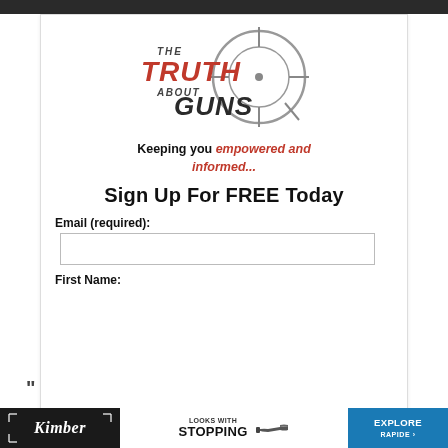[Figure (logo): The Truth About Guns logo with crosshair graphic — red and dark gray stylized text reading 'THE TRUTH ABOUT GUNS' with a gray crosshair/scope circle overlay]
Keeping you empowered and informed...
Sign Up For FREE Today
Email (required):
First Name:
[Figure (infographic): Advertisement banner: left section dark background with Kimber cursive logo, middle white section with 'LOOKS WITH STOPPING' text and gun image, right blue section with 'EXPLORE' text]